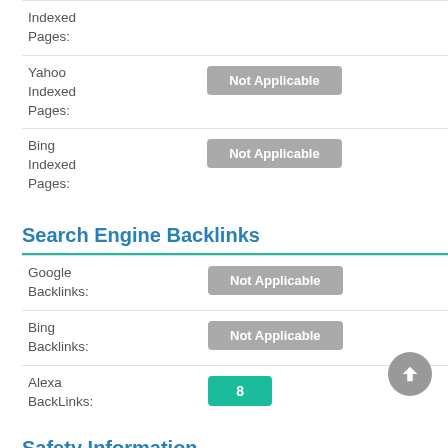| Label | Value |
| --- | --- |
| Indexed Pages: | Not Applicable |
| Yahoo Indexed Pages: | Not Applicable |
| Bing Indexed Pages: | Not Applicable |
Search Engine Backlinks
| Label | Value |
| --- | --- |
| Google Backlinks: | Not Applicable |
| Bing Backlinks: | Not Applicable |
| Alexa BackLinks: | 8 |
Safety Information